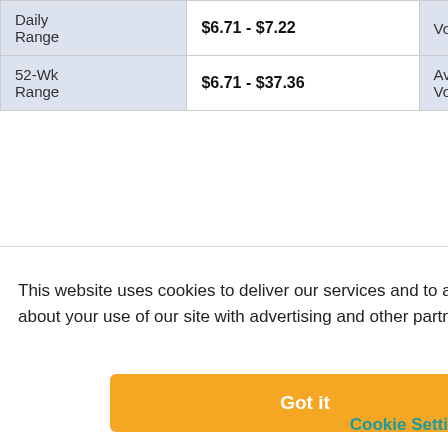|  |  |  |  |
| --- | --- | --- | --- |
| Daily Range | $6.71 - $7.22 | Volume | 1,237,638 |
| 52-Wk Range | $6.71 - $37.36 | Avg. Daily Vol. | 1,149,234 |
This website uses cookies to deliver our services and to analyze traffic. We also share information about your use of our site with advertising and other partners. Privacy Policy
Got it
Cookie Settings